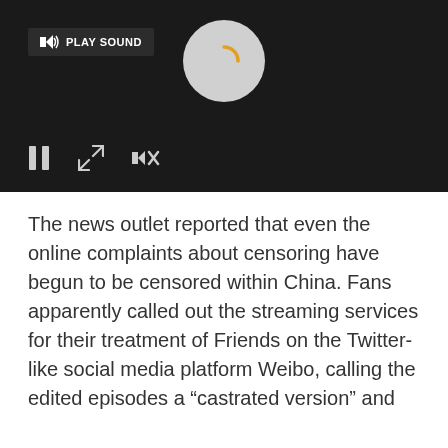[Figure (screenshot): A video player with dark background showing a loading spinner circle in the center, a 'PLAY SOUND' button in the top left, and playback controls (pause, fullscreen, mute) at the bottom left.]
The news outlet reported that even the online complaints about censoring have begun to be censored within China. Fans apparently called out the streaming services for their treatment of Friends on the Twitter-like social media platform Weibo, calling the edited episodes a “castrated version” and